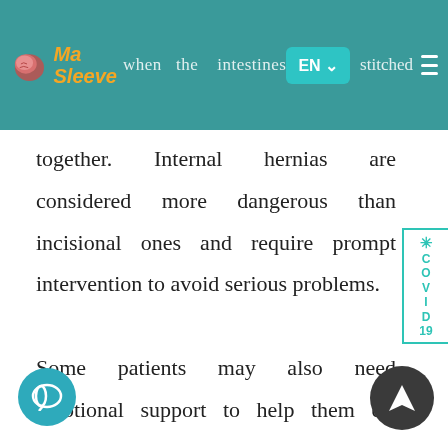Ma Sleeve — when the intestines are stitched
together. Internal hernias are considered more dangerous than incisional ones and require prompt intervention to avoid serious problems. Some patients may also need emotional support to help them cope with changes in body image and